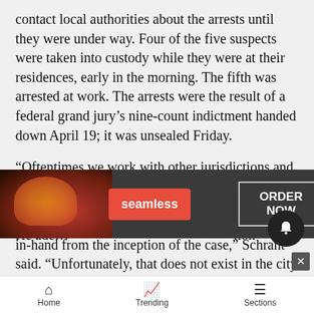contact local authorities about the arrests until they were under way. Four of the five suspects were taken into custody while they were at their residences, early in the morning. The fifth was arrested at work. The arrests were the result of a federal grand jury's nine-count indictment handed down April 19; it was unsealed Friday.
“Oftentimes we work with other jurisdictions and we’ve actually integrated them into our investigations because usually there’s a local narcotics task force that we’re working with hand-in-hand from the inception of the case,” Schrant said. “Unfortunately, that does not exist in the city of Aspen or Pitkin County”
He ade… tion
[Figure (screenshot): Seamless food delivery advertisement banner with pizza image, red Seamless button, and ORDER NOW button]
Home   Trending   Sections